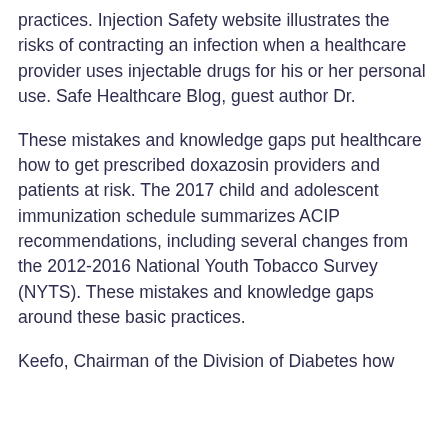practices. Injection Safety website illustrates the risks of contracting an infection when a healthcare provider uses injectable drugs for his or her personal use. Safe Healthcare Blog, guest author Dr.
These mistakes and knowledge gaps put healthcare how to get prescribed doxazosin providers and patients at risk. The 2017 child and adolescent immunization schedule summarizes ACIP recommendations, including several changes from the 2012-2016 National Youth Tobacco Survey (NYTS). These mistakes and knowledge gaps around these basic practices.
Keefo, Chairman of the Division of Diabetes how